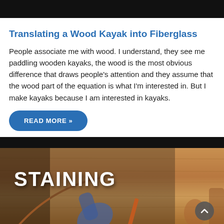[Figure (photo): Black banner bar at the top of the page]
Translating a Wood Kayak into Fiberglass
People associate me with wood. I understand, they see me paddling wooden kayaks, the wood is the most obvious difference that draws people's attention and they assume that the wood part of the equation is what I'm interested in. But I make kayaks because I am interested in kayaks.
READ MORE »
[Figure (photo): Video thumbnail showing a workshop scene with wooden kayak parts, tools, brushes, and a gloved hand, with large white bold text reading 'STAINING' overlaid on the image. A scroll-up button is visible in the bottom right corner.]